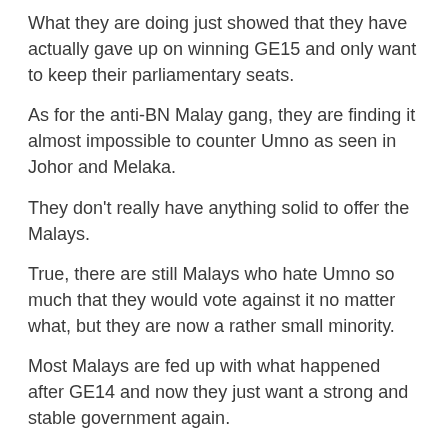What they are doing just showed that they have actually gave up on winning GE15 and only want to keep their parliamentary seats.
As for the anti-BN Malay gang, they are finding it almost impossible to counter Umno as seen in Johor and Melaka.
They don't really have anything solid to offer the Malays.
True, there are still Malays who hate Umno so much that they would vote against it no matter what, but they are now a rather small minority.
Most Malays are fed up with what happened after GE14 and now they just want a strong and stable government again.
Pakatan actually really screwed up when it came to winning the hearts and minds of the Malays when they were in power after GE14.
Their leaders and supporters insulted the Malays to no end at that time by their words and conducts.
Personally, I will always remember what they said and did...